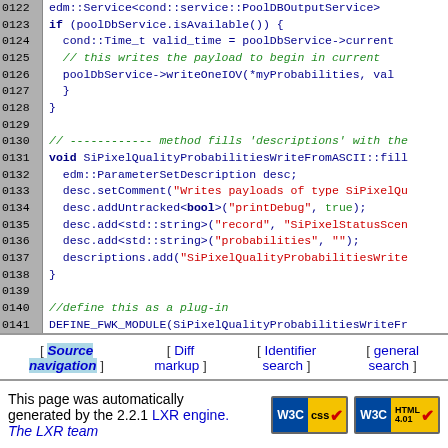[Figure (screenshot): Source code listing lines 0122-0141 showing C++ code for SiPixelQualityProbabilitiesWriteFromASCII with line numbers in gray background]
[ Source navigation ] [ Diff markup ] [ Identifier search ] [ general search ]
This page was automatically generated by the 2.2.1 LXR engine. The LXR team
[Figure (logo): W3C CSS and W3C HTML 4.01 validation badges]